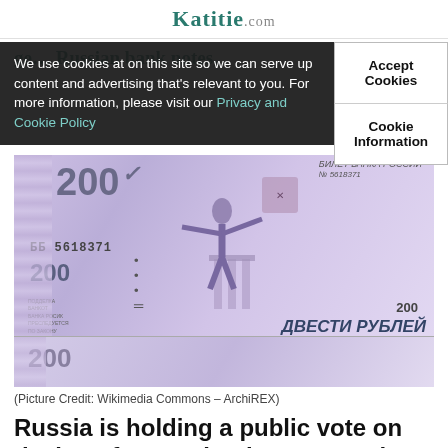Katitie.com
We use cookies at on this site so we can serve up content and advertising that's relevant to you. For more information, please visit our Privacy and Cookie Policy
Accept Cookies
Cookie Information
ge... Russian bank notes,
[Figure (photo): Russian 200 ruble banknote featuring a female figure/statue with arms outstretched, architectural elements, serial number BB 5618371, Cyrillic text reading БИЛЕТ БАНКА РОССИЙ and ДВЕСТИ РУБЛЕЙ. Second partially visible banknote at bottom.]
(Picture Credit: Wikimedia Commons – ArchiREX)
Russia is holding a public vote on designs for new bank notes, and Barsik is hoping that his supporters will vote for his face to appear on the